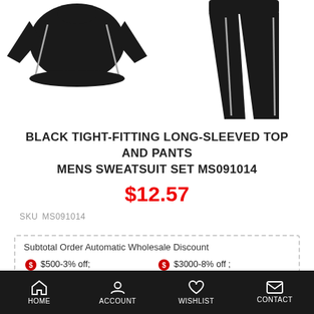[Figure (photo): Product photo showing black tight-fitting long-sleeved compression top and pants mens sweatsuit set on white background]
BLACK TIGHT-FITTING LONG-SLEEVED TOP AND PANTS MENS SWEATSUIT SET MS091014
$12.57
SKU  MS091014
Subtotal Order Automatic Wholesale Discount
$500-3% off;
$3000-8% off ;
$1000-5% off;
$5000-10% off;
HOME   ACCOUNT   WISHLIST   CONTACT